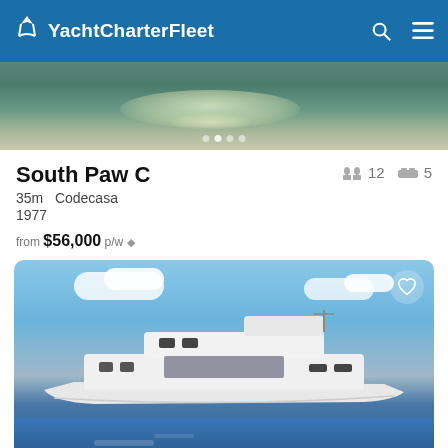YachtCharterFleet
[Figure (photo): Water/ocean surface photo with light shimmer reflection]
South Paw C
35m  Codecasa
1977
from $56,000 p/w ◆
[Figure (photo): Large white luxury motor yacht anchored in calm blue water with clear sky, heart/favourite icon in top right corner]